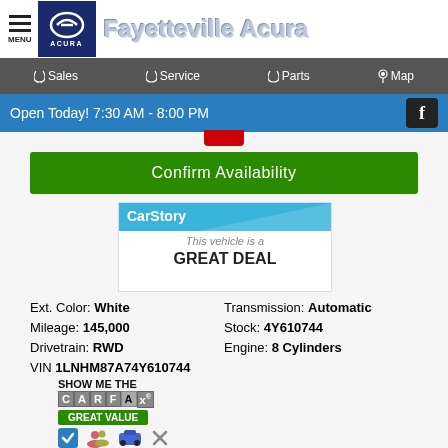Fayetteville Acura
Sales  Service  Parts  Map
Open Today! 7:30 AM - 8:00 PM
Confirm Availability
[Figure (logo): CarStory badge showing 'This vehicle is a GREAT DEAL']
Ext. Color: White
Mileage: 145,000
Drivetrain: RWD
VIN 1LNHM87A74Y610744
Transmission: Automatic
Stock: 4Y610744
Engine: 8 Cylinders
[Figure (logo): Show Me The CARFAX - GREAT VALUE badge with icons]